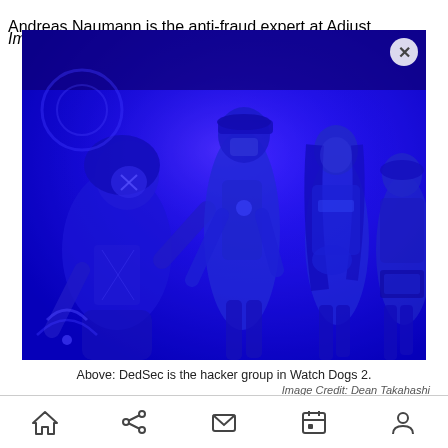Andreas Naumann is the anti-fraud expert at Adjust.
Image Credit: Dean Takahashi
[Figure (photo): Blue-tinted photo of DedSec hacker group characters from Watch Dogs 2 video game, displayed on a large screen or mural. Four stylized characters in blue hues, one with a hoodie and mask on the left, a tall figure in the center-left, a woman with long dark hair center-right, and another figure on the far right. A circular close (X) button appears in the upper-right corner of the image.]
Above: DedSec is the hacker group in Watch Dogs 2.
Image Credit: Dean Takahashi
Home | Share | Mail | Calendar | Profile